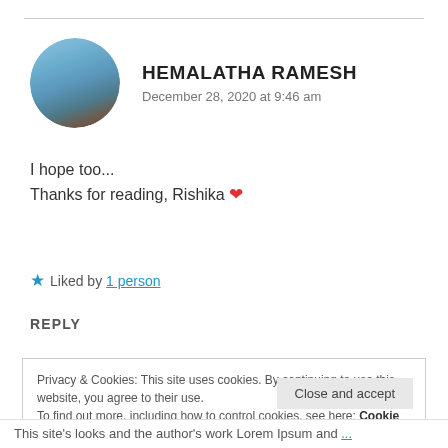[Figure (photo): Circular avatar photo of Hemalatha Ramesh showing a person against a blue sky background]
HEMALATHA RAMESH
December 28, 2020 at 9:46 am
I hope too...
Thanks for reading, Rishika ❤
★ Liked by 1 person
REPLY
Privacy & Cookies: This site uses cookies. By continuing to use this website, you agree to their use.
To find out more, including how to control cookies, see here: Cookie Policy
Close and accept